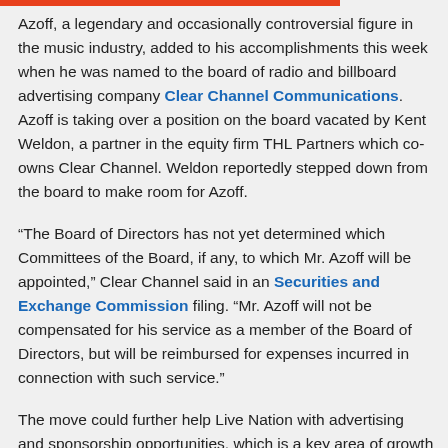Azoff, a legendary and occasionally controversial figure in the music industry, added to his accomplishments this week when he was named to the board of radio and billboard advertising company Clear Channel Communications. Azoff is taking over a position on the board vacated by Kent Weldon, a partner in the equity firm THL Partners which co-owns Clear Channel. Weldon reportedly stepped down from the board to make room for Azoff.
“The Board of Directors has not yet determined which Committees of the Board, if any, to which Mr. Azoff will be appointed,” Clear Channel said in an Securities and Exchange Commission filing. “Mr. Azoff will not be compensated for his service as a member of the Board of Directors, but will be reimbursed for expenses incurred in connection with such service.”
The move could further help Live Nation with advertising and sponsorship opportunities, which is a key area of growth for the company in 2011, according to President and CEO Michael